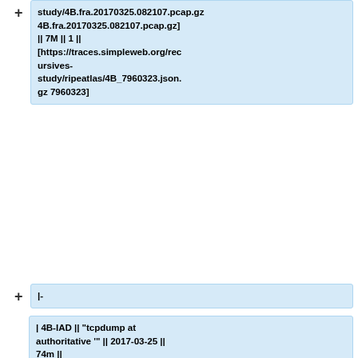study/4B.fra.20170325.082107.pcap.gz 4B.fra.20170325.082107.pcap.gz] || 7M || 1 || [https://traces.simpleweb.org/recursives-study/ripeatlas/4B_7960323.json.gz 7960323]
|-
| 4B-IAD || "tcpdump at authoritative '" || 2017-03-25 || 74m || [https://traces.simpleweb.org/recursives-study/4B.iad.20170325.082823.pcap.gz 4B.iad.20170325.082823.pcap.gz] || 5M || 1 || [https://traces.simpleweb.org/recursives-study/ripeatlas/4B_7960323.json.gz 7960323]
|-